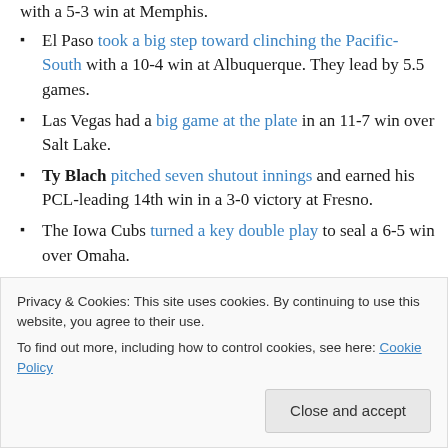with a 5-3 win at Memphis.
El Paso took a big step toward clinching the Pacific-South with a 10-4 win at Albuquerque. They lead by 5.5 games.
Las Vegas had a big game at the plate in an 11-7 win over Salt Lake.
Ty Blach pitched seven shutout innings and earned his PCL-leading 14th win in a 3-0 victory at Fresno.
The Iowa Cubs turned a key double play to seal a 6-5 win over Omaha.
Drew Robinson's home run lifted Round Rock to a 4-2
Privacy & Cookies: This site uses cookies. By continuing to use this website, you agree to their use. To find out more, including how to control cookies, see here: Cookie Policy